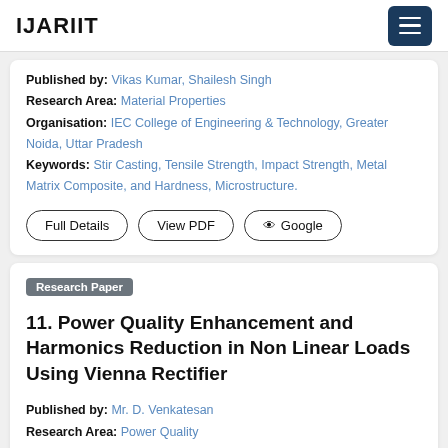IJARIIT
Published by: Vikas Kumar, Shailesh Singh
Research Area: Material Properties
Organisation: IEC College of Engineering & Technology, Greater Noida, Uttar Pradesh
Keywords: Stir Casting, Tensile Strength, Impact Strength, Metal Matrix Composite, and Hardness, Microstructure.
Full Details | View PDF | Google
Research Paper
11. Power Quality Enhancement and Harmonics Reduction in Non Linear Loads Using Vienna Rectifier
Published by: Mr. D. Venkatesan
Research Area: Power Quality
Organisation: CK College of Engineering & Techno... Cuddalore, Tamil Nadu